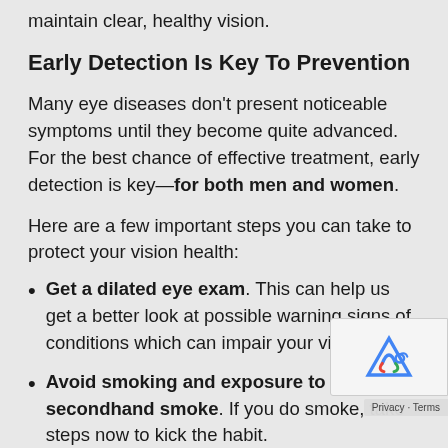maintain clear, healthy vision.
Early Detection Is Key To Prevention
Many eye diseases don't present noticeable symptoms until they become quite advanced. For the best chance of effective treatment, early detection is key—for both men and women.
Here are a few important steps you can take to protect your vision health:
Get a dilated eye exam. This can help us get a better look at possible warning signs of conditions which can impair your vision.
Avoid smoking and exposure to secondhand smoke. If you do smoke, take steps now to kick the habit.
Identify eye disease in your family's medical history. An accurate family